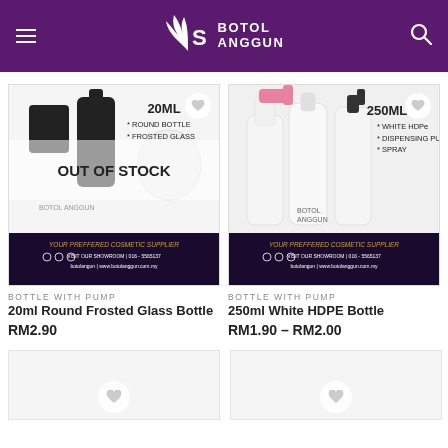Botol Anggun – Your Preferred Cosmetic Supplier
[Figure (screenshot): Product image: 20ml Round Bottle Frosted Glass with pump, showing OUT OF STOCK overlay and Botol Anggun branding banner at bottom]
BOTTLE WITH PUMP
20ml Round Frosted Glass Bottle
RM2.90
[Figure (screenshot): Product image: 250ml White HDPE Bottle with dispensing pump and spray options, Botol Anggun branding banner at bottom]
BOTTLE WITH PUMP
250ml White HDPE Bottle
RM1.90 – RM2.00